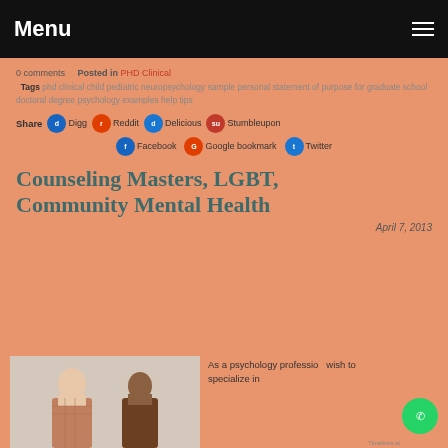Menu
0 comments   Posted in PHD Clinical
Tags phd clinical child pediatric neuropsychology sample personal statement of purpose for graduate school doctoral degree psychology examples help tips
Share  Digg  Reddit  Delicious  Stumbleupon  Facebook  Google bookmark  Twitter
Counseling Masters, LGBT, Community Mental Health
April 7, 2013
[Figure (photo): Two people in a counseling session, one person in distress]
As a psychology professional I wish to specialize in